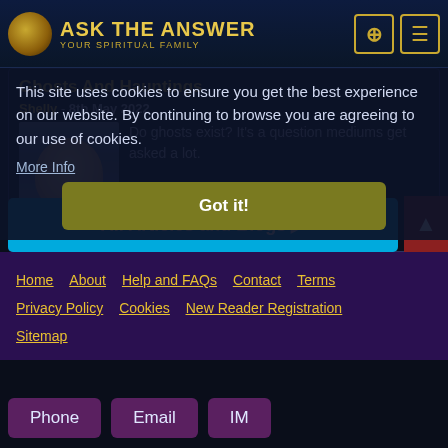ASK THE ANSWER - YOUR SPIRITUAL FAMILY
This site uses cookies to ensure you get the best experience on our website. By continuing to browse you are agreeing to our use of cookies.
More Info
Got it!
Ghosts And Hauntings
Shelly - 8th May 2022
[Figure (photo): Author photo of Shelly]
Do ghosts exist? It's a question mediums get asked a lot.
Read More ▶
All Articles and Blogs ▶
Home   About   Help and FAQs   Contact   Terms   Privacy Policy   Cookies   New Reader Registration   Sitemap
Phone   Email   IM